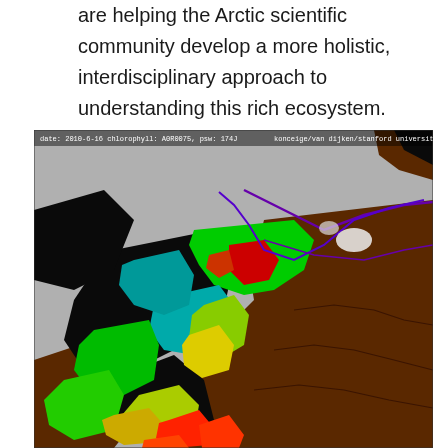are helping the Arctic scientific community develop a more holistic, interdisciplinary approach to understanding this rich ecosystem.
[Figure (map): Satellite chlorophyll map (MODIS) of Arctic/Bering Sea region dated 2010-6-16, showing chlorophyll concentration with a false-color scale from brown (low) through yellow-green to red (high). Purple lines indicate sea ice edges. Image credit: konceige/van dijken/stanford university.]